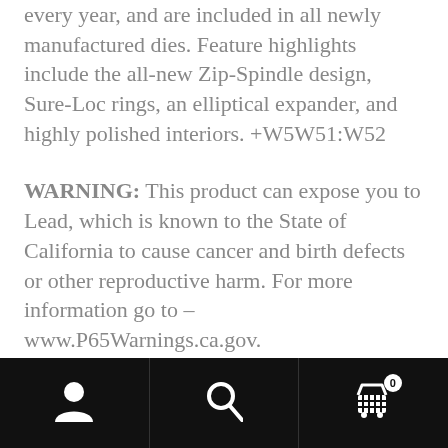every year, and are included in all newly manufactured dies. Feature highlights include the all-new Zip-Spindle design, Sure-Loc rings, an elliptical expander, and highly polished interiors. +W5W51:W52
WARNING: This product can expose you to Lead, which is known to the State of California to cause cancer and birth defects or other reproductive harm. For more information go to – www.P65Warnings.ca.gov.
[Figure (other): Bottom navigation bar with three icons: a person/account icon on the left, a search/magnifying glass icon in the center, and a shopping cart icon with a badge showing 0 on the right. Black background.]